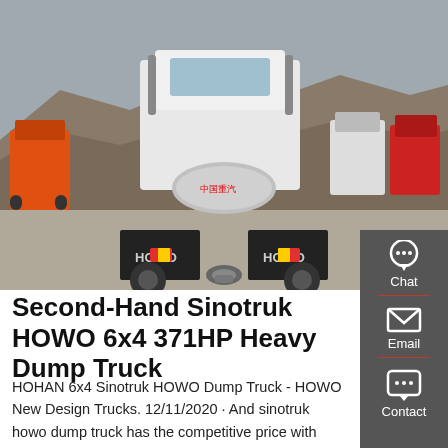[Figure (photo): Rear view of Sinotruk HOWO heavy dump truck in a truck yard with multiple trucks visible in the background. White cab truck centered with HOWO mudflaps visible.]
Second-Hand Sinotruk HOWO 6x4 371HP Heavy Dump Truck
HOHAN 6x4 Sinotruk HOWO Dump Truck - HOWO New Design Trucks. 12/11/2020 · And sinotruk howo dump truck has the competitive price with China other brand heavy duty trucks. HOWO 6x4 Dump Truck Specifications. Dimension: 8645*2500*3450mm (Customized) Bucket. 5800*2300*1500mm ; 20 Cubic,